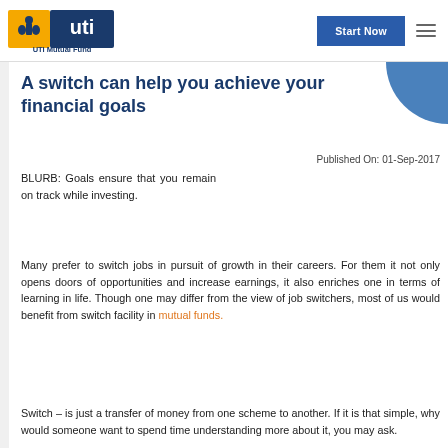UTI Mutual Fund — Start Now
A switch can help you achieve your financial goals
Published On: 01-Sep-2017
BLURB: Goals ensure that you remain on track while investing.
Many prefer to switch jobs in pursuit of growth in their careers. For them it not only opens doors of opportunities and increase earnings, it also enriches one in terms of learning in life. Though one may differ from the view of job switchers, most of us would benefit from switch facility in mutual funds.
Switch – is just a transfer of money from one scheme to another. If it is that simple, why would someone want to spend time understanding more about it, you may ask.